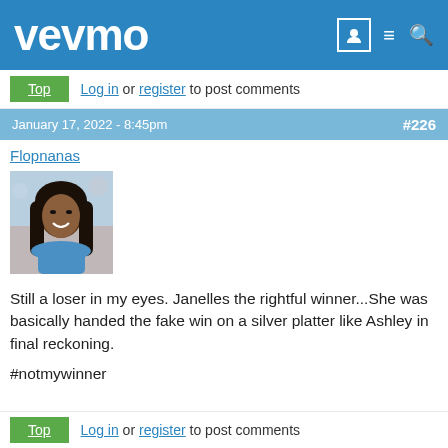vevmo
Top   Log in or register to post comments
January 17, 2022 - 8:45pm   #226
Flopnanas
[Figure (photo): Profile photo of a smiling woman with long dark hair wearing a blue top]
Still a loser in my eyes. Janelles the rightful winner...She was basically handed the fake win on a silver platter like Ashley in final reckoning.

#notmywinner
Top   Log in or register to post comments